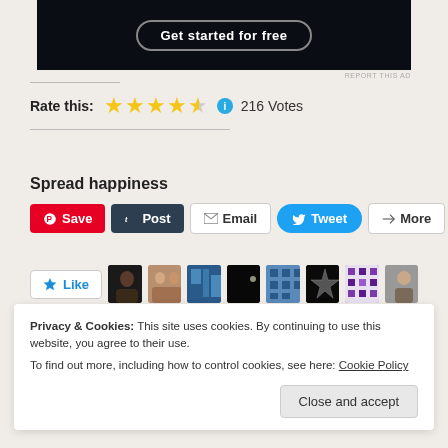[Figure (other): Dark advertisement banner with 'Get started for free' button]
REPORT THIS AD
Rate this: ★★★★½ ℹ 216 Votes
Spread happiness
Save  Post  Email  Tweet  More
Like  [8 blogger avatars]
8 bloggers like this.
Related
Privacy & Cookies: This site uses cookies. By continuing to use this website, you agree to their use.
To find out more, including how to control cookies, see here: Cookie Policy
Close and accept